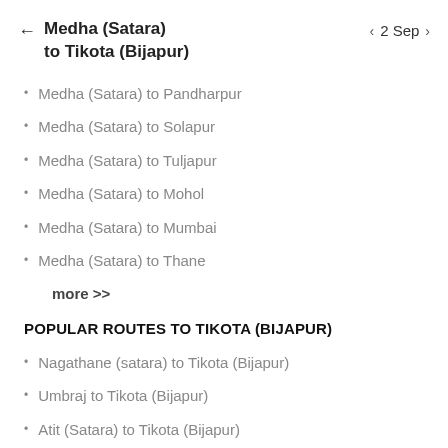Medha (Satara) to Tikota (Bijapur) ← 2 Sep
Medha (Satara) to Pandharpur
Medha (Satara) to Solapur
Medha (Satara) to Tuljapur
Medha (Satara) to Mohol
Medha (Satara) to Mumbai
Medha (Satara) to Thane
more >>
POPULAR ROUTES TO TIKOTA (BIJAPUR)
Nagathane (satara) to Tikota (Bijapur)
Umbraj to Tikota (Bijapur)
Atit (Satara) to Tikota (Bijapur)